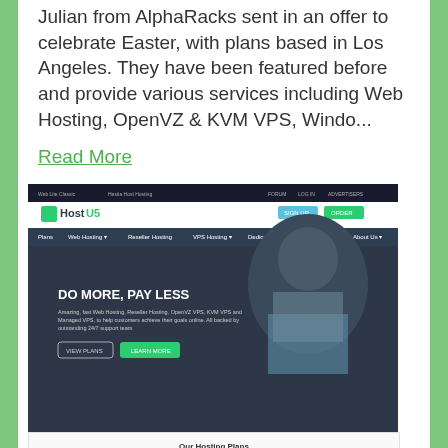Julian from AlphaRacks sent in an offer to celebrate Easter, with plans based in Los Angeles. They have been featured before and provide various services including Web Hosting, OpenVZ & KVM VPS, Windo...
Read More
[Figure (screenshot): Screenshot of HostUS website showing 'DO MORE, PAY LESS' hero section with a man in background, navigation menu with hosting plans, and a pricing table section titled 'Our Hosting Plans']
HostUS - New AMS Location & Exclusive KVM Promotion